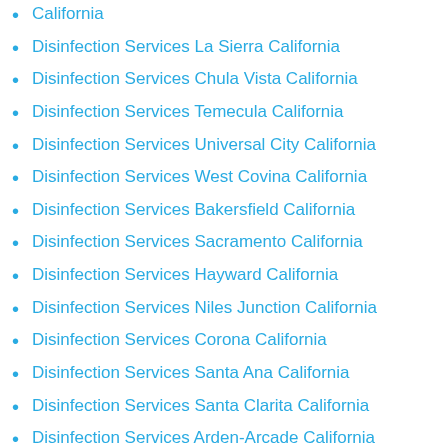California
Disinfection Services La Sierra California
Disinfection Services Chula Vista California
Disinfection Services Temecula California
Disinfection Services Universal City California
Disinfection Services West Covina California
Disinfection Services Bakersfield California
Disinfection Services Sacramento California
Disinfection Services Hayward California
Disinfection Services Niles Junction California
Disinfection Services Corona California
Disinfection Services Santa Ana California
Disinfection Services Santa Clarita California
Disinfection Services Arden-Arcade California
Disinfection Services El Monte California
Disinfection Services Rancho Cucamonga California
Disinfection Services Ventura California